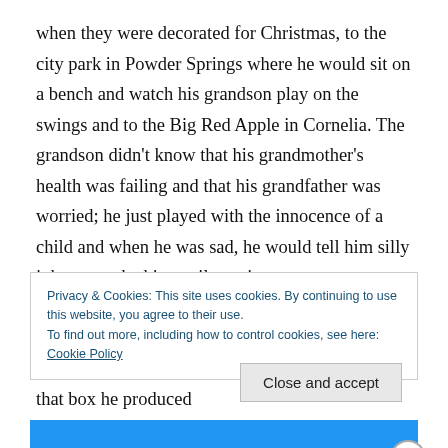when they were decorated for Christmas, to the city park in Powder Springs where he would sit on a bench and watch his grandson play on the swings and to the Big Red Apple in Cornelia. The grandson didn't know that his grandmother's health was failing and that his grandfather was worried; he just played with the innocence of a child and when he was sad, he would tell him silly jokes to make him smile again.

One day the Reverend came home with a large box with bright lettering printed on it and from that box he produced
Privacy & Cookies: This site uses cookies. By continuing to use this website, you agree to their use.
To find out more, including how to control cookies, see here: Cookie Policy
Close and accept